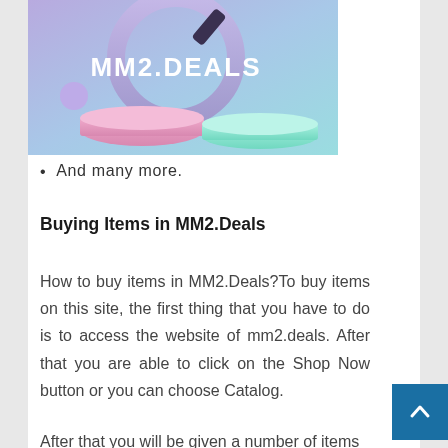[Figure (illustration): MM2.DEALS branded image with purple/blue background, showing 3D objects including a circle/clock shape, a pink platform, a teal platform, and text MM2.DEALS in bold white letters.]
And many more.
Buying Items in MM2.Deals
How to buy items in MM2.Deals?To buy items on this site, the first thing that you have to do is to access the website of mm2.deals. After that you are able to click on the Shop Now button or you can choose Catalog.
After that you will be given a number of items